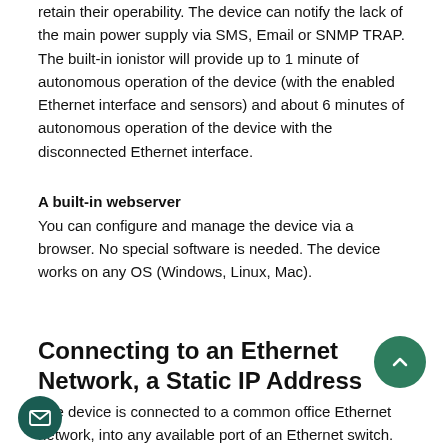retain their operability. The device can notify the lack of the main power supply via SMS, Email or SNMP TRAP. The built-in ionistor will provide up to 1 minute of autonomous operation of the device (with the enabled Ethernet interface and sensors) and about 6 minutes of autonomous operation of the device with the disconnected Ethernet interface.
A built-in webserver
You can configure and manage the device via a browser. No special software is needed. The device works on any OS (Windows, Linux, Mac).
Connecting to an Ethernet Network, a Static IP Address
The device is connected to a common office Ethernet network, into any available port of an Ethernet switch. Having published an IP address of the device on the Internet, it is possible to manage device sockets from anywhere in the world.
Ethernet ports on the device case
There are two ports allowing management of connections th...